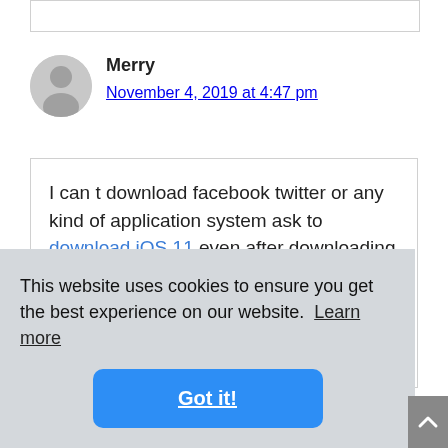[Figure (other): User avatar placeholder — grey circle with person silhouette]
Merry
November 4, 2019 at 4:47 pm
I can t download facebook twitter or any kind of application system ask to download iOS 11 even after downloading it I don't know what I
This website uses cookies to ensure you get the best experience on our website. Learn more
Got it!